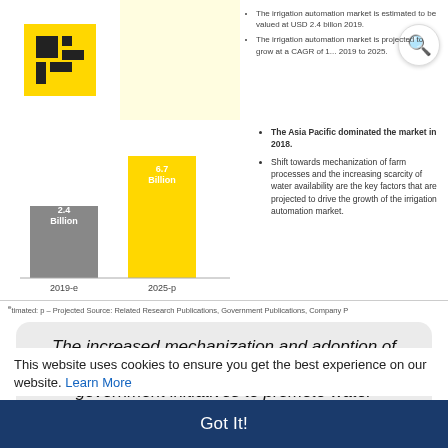[Figure (bar-chart): Irrigation Automation Market Size]
The irrigation automation market is estimated to be valued at USD 2.4 billon 2019.
The irrigation automation market is projected to grow at a CAGR of 1... 2019 to 2025.
The Asia Pacific dominated the market in 2018.
Shift towards mechanization of farm processes and the increasing scarcity of water availability are the key factors that are projected to drive the growth of the irrigation automation market.
e – timated: p – Projected Source: Related Research Publications, Government Publications, Company P
The increased mechanization and adoption of smart technologies for agricultural activities, government initiatives to promote water conservation, and the growing awareness among farmers about the benefits of adopting
This website uses cookies to ensure you get the best experience on our website. Learn More
Got It!